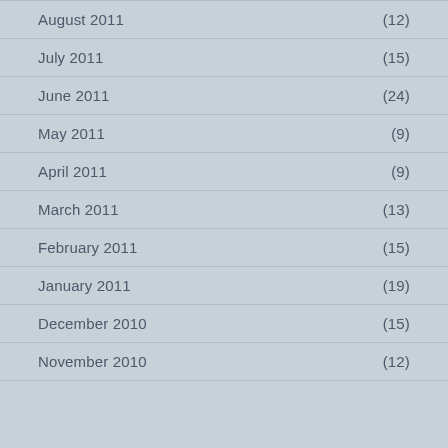August 2011 (12)
July 2011 (15)
June 2011 (24)
May 2011 (9)
April 2011 (9)
March 2011 (13)
February 2011 (15)
January 2011 (19)
December 2010 (15)
November 2010 (12)